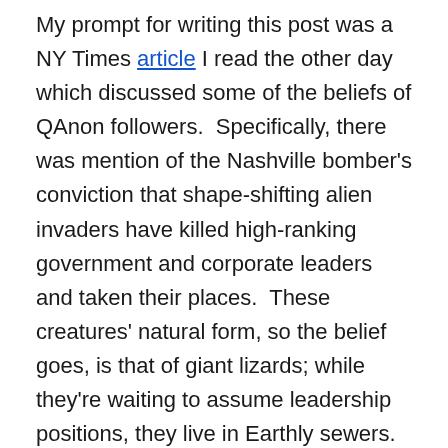My prompt for writing this post was a NY Times article I read the other day which discussed some of the beliefs of QAnon followers. Specifically, there was mention of the Nashville bomber's conviction that shape-shifting alien invaders have killed high-ranking government and corporate leaders and taken their places. These creatures' natural form, so the belief goes, is that of giant lizards; while they're waiting to assume leadership positions, they live in Earthly sewers.
I'd venture to assume that, to most inhabitants of our planet, such Lizardman hypotheses are bizarre in the extreme. QAnon supporters are said to number in the millions, however, although many do not believe in all of the theories put forth on the various sites frequented by followers. To come to accept the existence and malevolent purpose of these aliens, of course, one has to